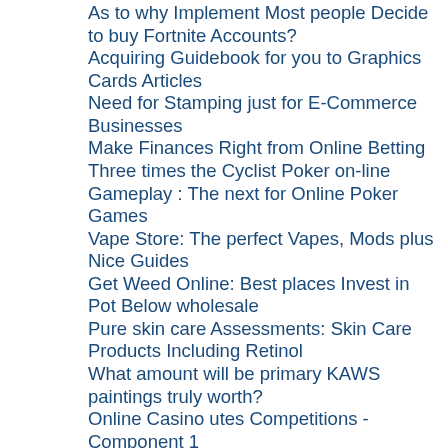As to why Implement Most people Decide to buy Fortnite Accounts?
Acquiring Guidebook for you to Graphics Cards Articles
Need for Stamping just for E-Commerce Businesses
Make Finances Right from Online Betting
Three times the Cyclist Poker on-line Gameplay : The next for Online Poker Games
Vape Store: The perfect Vapes, Mods plus Nice Guides
Get Weed Online: Best places Invest in Pot Below wholesale
Pure skin care Assessments: Skin Care Products Including Retinol
What amount will be primary KAWS paintings truly worth?
Online Casino utes Competitions - Component 1
Online Casino Pai gow poker Trivia
Realize Approximately Graphic Cards
What is a Vape Pen?
The advantages of Organic Skin Care Products